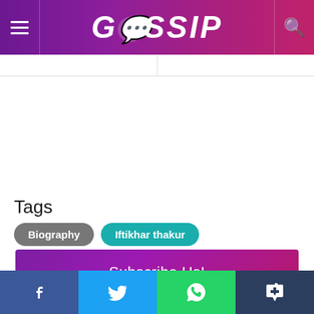GOSSIP
Tags
Biography
Iftikhar thakur
Subscribe Us!
xyz@example.com
Subscribe
[Figure (other): Social media share buttons: Facebook, Twitter, WhatsApp, Tumblr]